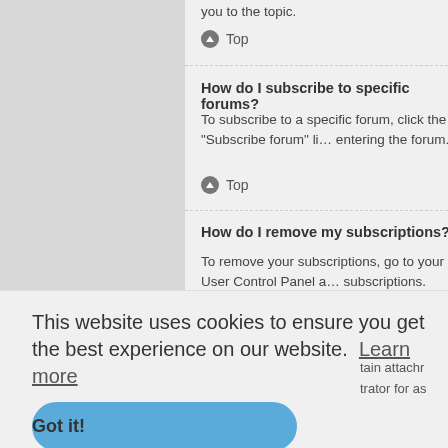you to the topic.
Top
How do I subscribe to specific forums?
To subscribe to a specific forum, click the "Subscribe forum" li... entering the forum.
Top
How do I remove my subscriptions?
To remove your subscriptions, go to your User Control Panel a... subscriptions.
Top
This website uses cookies to ensure you get the best experience on our website. Learn more
Got it!
tain attachr trator for as